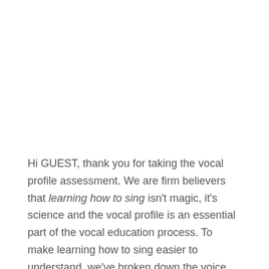Hi GUEST, thank you for taking the vocal profile assessment. We are firm believers that learning how to sing isn't magic, it's science and the vocal profile is an essential part of the vocal education process. To make learning how to sing easier to understand, we've broken down the voice into seven digestible components or dimensions.